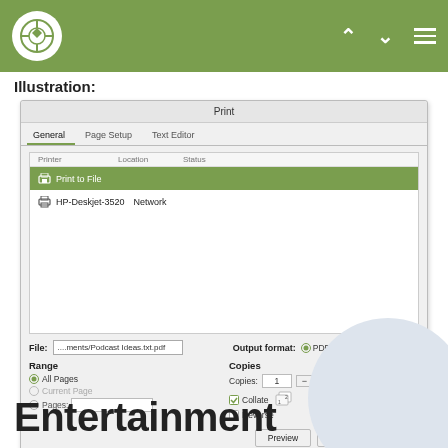[Figure (screenshot): Ubuntu/Linux desktop navigation bar with logo, up arrow, down arrow, and hamburger menu icons on olive green background]
Illustration:
[Figure (screenshot): Print dialog box showing General, Page Setup, Text Editor tabs. Printer list with 'Print to File' selected (highlighted green) and HP-Deskjet-3520 Network. File field showing ...ments/Podcast Ideas.txt.pdf. Output format options: PDF selected, Postscript, SVG. Range section with All Pages, Current Page, Pages options. Copies section with Copies:1 spinner, Collate checked, Reverse unchecked. Preview, Cancel, Print buttons.]
Entertainment